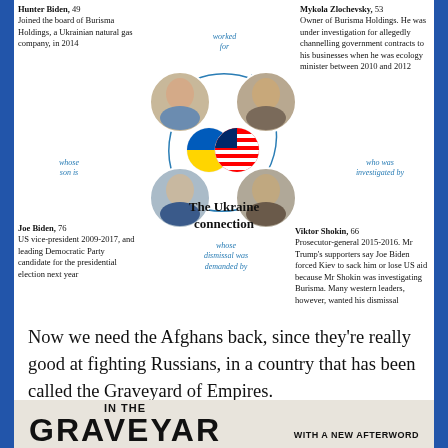[Figure (infographic): Ukraine connection diagram showing Hunter Biden, Mykola Zlochevsky, Viktor Shokin, and Joe Biden connected in a circular relationship around Ukrainian and US flag icons labeled 'The Ukraine connection']
Now we need the Afghans back, since they're really good at fighting Russians, in a country that has been called the Graveyard of Empires.
[Figure (photo): Book cover showing 'IN THE GRAVEYARD' with 'WITH A NEW AFTERWORD' text]